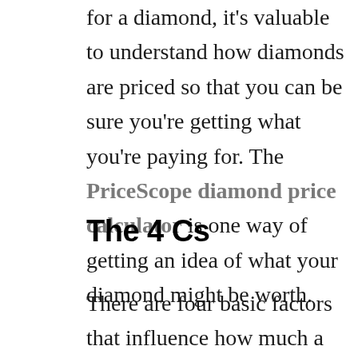for a diamond, it's valuable to understand how diamonds are priced so that you can be sure you're getting what you're paying for. The PriceScope diamond price calculator is one way of getting an idea of what your diamond might be worth.
The 4 Cs
There are four basic factors that influence how much a diamond